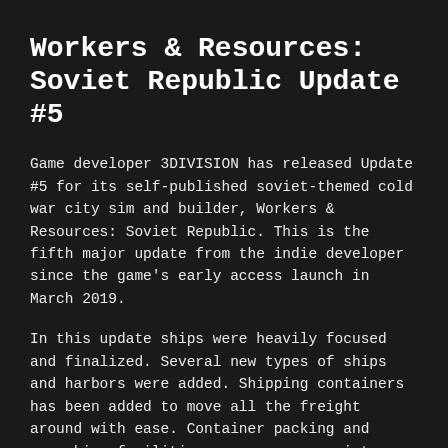Workers & Resources: Soviet Republic Update #5
Game developer 3DIVISION has released Update #5 for its self-published soviet-themed cold war city sim and builder, Workers & Resources: Soviet Republic. This is the fifth major update from the indie developer since the game's early access launch in March 2019.
In this update ships were heavily focused and finalized. Several new types of ships and harbors were added. Shipping containers has been added to move all the freight around with ease. Container packing and unpacking facilities move resources into containers for faster ship loading and unloading.
Trains also received additional updates. Longer trains are now here with help from a long railway depot. Air direction of train lines on the border is now set.